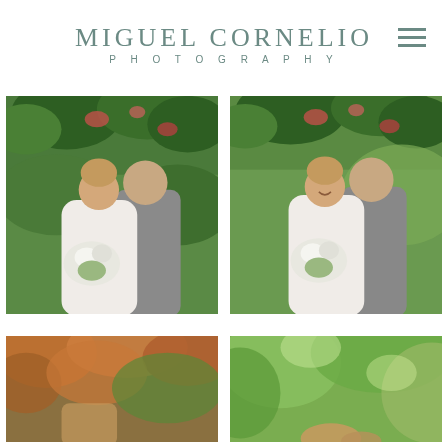MIGUEL CORNELIO PHOTOGRAPHY
[Figure (photo): Wedding couple in garden, left photo — bride holding white bouquet, groom in gray suit nuzzling bride's neck, lush green foliage background]
[Figure (photo): Wedding couple in garden, right photo — same couple, bride smiling, white bouquet, green garden background]
[Figure (photo): Bottom left partial photo — colorful autumn foliage close-up with couple partially visible]
[Figure (photo): Bottom right partial photo — bright green garden bokeh with bride's hair visible at bottom]